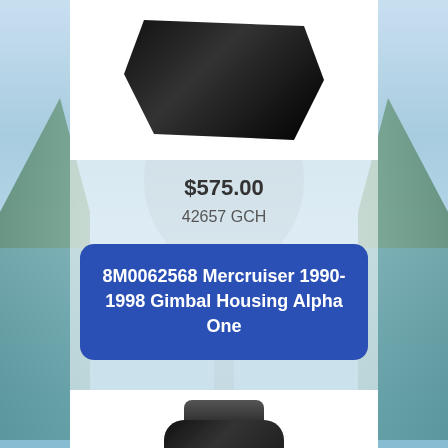[Figure (photo): Black marine component/part (top, partially visible) against white background]
$575.00
42657 GCH
8M0062568 Mercruiser 1990-1998 Gimbal Housing Alpha One
[Figure (photo): Mercruiser Gimbal Housing Alpha One black marine part with bearing visible, logo on top]